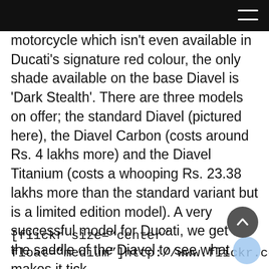[hamburger menu icon]
motorcycle which isn't even available in Ducati's signature red colour, the only shade available on the base Diavel is 'Dark Stealth'. There are three models on offer; the standard Diavel (pictured here), the Diavel Carbon (costs around Rs. 4 lakhs more) and the Diavel Titanium (costs a whooping Rs. 23.38 lakhs more than the standard variant but is a limited edition model). A very successful model for Ducati, we get on the saddle of the Diavel to see what makes it tick.
[flickr size="center" float="medium"]http://www.flickr.com/photos/mo